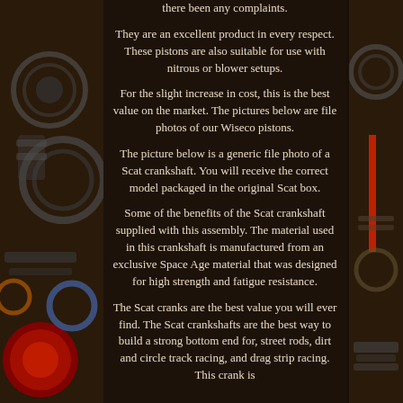there been any complaints.
They are an excellent product in every respect. These pistons are also suitable for use with nitrous or blower setups.
For the slight increase in cost, this is the best value on the market. The pictures below are file photos of our Wiseco pistons.
The picture below is a generic file photo of a Scat crankshaft. You will receive the correct model packaged in the original Scat box.
Some of the benefits of the Scat crankshaft supplied with this assembly. The material used in this crankshaft is manufactured from an exclusive Space Age material that was designed for high strength and fatigue resistance.
The Scat cranks are the best value you will ever find. The Scat crankshafts are the best way to build a strong bottom end for, street rods, dirt and circle track racing, and drag strip racing. This crank is
[Figure (photo): Background photo collage showing engine parts, pistons, bearings, and crankshaft components on left and right sides of the page]